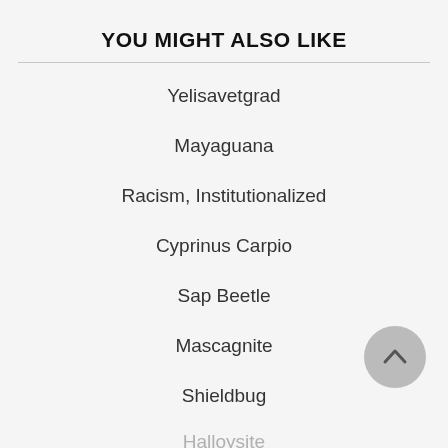YOU MIGHT ALSO LIKE
Yelisavetgrad
Mayaguana
Racism, Institutionalized
Cyprinus Carpio
Sap Beetle
Mascagnite
Shieldbug
Halloysite